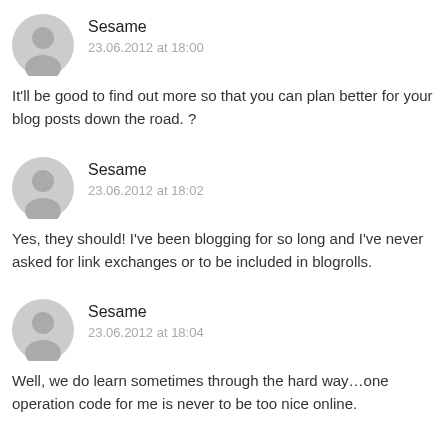[Figure (illustration): Gray circular user avatar icon for first comment]
Sesame
23.06.2012 at 18:00
It'll be good to find out more so that you can plan better for your blog posts down the road. ?
[Figure (illustration): Gray circular user avatar icon for second comment]
Sesame
23.06.2012 at 18:02
Yes, they should! I've been blogging for so long and I've never asked for link exchanges or to be included in blogrolls.
[Figure (illustration): Gray circular user avatar icon for third comment]
Sesame
23.06.2012 at 18:04
Well, we do learn sometimes through the hard way…one operation code for me is never to be too nice online.